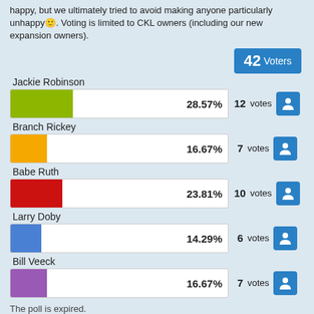happy, but we ultimately tried to avoid making anyone particularly unhappy 🙂. Voting is limited to CKL owners (including our new expansion owners).
[Figure (bar-chart): Poll results]
The poll is expired.
Tags: None